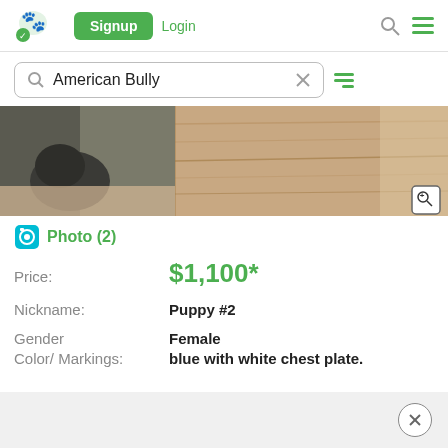[Figure (screenshot): App navigation bar with logo, Signup button, Login link, search icon, and hamburger menu]
American Bully
[Figure (photo): Photo strip showing a dark puppy on the left and a wooden surface/background on the right, with a zoom button in the bottom-right corner]
Photo (2)
Price: $1,100*
Nickname: Puppy #2
Gender: Female
Color/ Markings: blue with white chest plate.